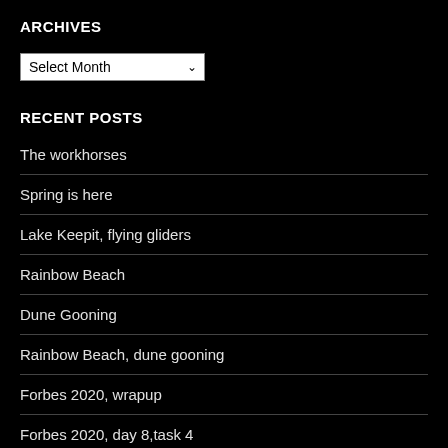ARCHIVES
[Figure (screenshot): Dropdown selector showing 'Select Month']
RECENT POSTS
The workhorses
Spring is here
Lake Keepit, flying gliders
Rainbow Beach
Dune Gooning
Rainbow Beach, dune gooning
Forbes 2020, wrapup
Forbes 2020, day 8,task 4